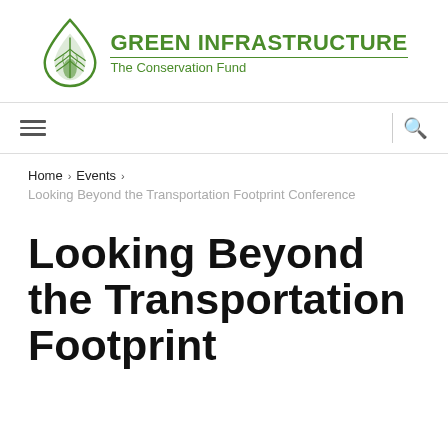[Figure (logo): Green Infrastructure The Conservation Fund logo with leaf/droplet icon in green]
GREEN INFRASTRUCTURE
The Conservation Fund
Home › Events ›
Looking Beyond the Transportation Footprint Conference
Looking Beyond the Transportation Footprint